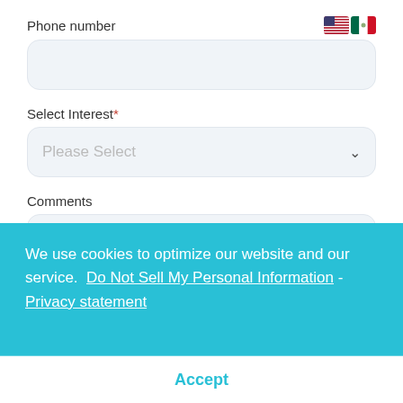Phone number
[Figure (illustration): US and Mexico flag icons]
Select Interest*
Please Select (dropdown)
Comments
We use cookies to optimize our website and our service.  Do Not Sell My Personal Information - Privacy statement
Accept